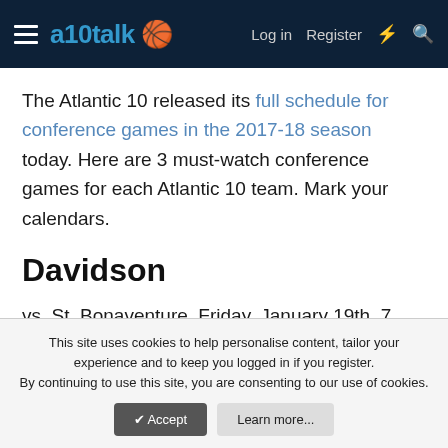a10talk — Log in  Register
The Atlantic 10 released its full schedule for conference games in the 2017-18 season today. Here are 3 must-watch conference games for each Atlantic 10 team. Mark your calendars.
Davidson
vs. St. Bonaventure, Friday, January 19th, 7 PM, NBCSN
This site uses cookies to help personalise content, tailor your experience and to keep you logged in if you register.
By continuing to use this site, you are consenting to our use of cookies.